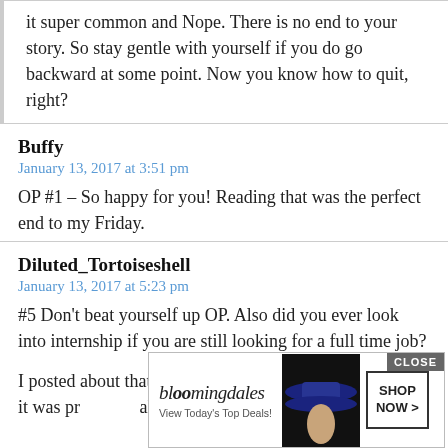it super common and Nope. There is no end to your story. So stay gentle with yourself if you do go backward at some point. Now you know how to quit, right?
Buffy
January 13, 2017 at 3:51 pm
OP #1 – So happy for you! Reading that was the perfect end to my Friday.
Diluted_Tortoiseshell
January 13, 2017 at 5:23 pm
#5 Don't beat yourself up OP. Also did you ever look into internship if you are still looking for a full time job?
I posted about that on the original letter you but it was pr ally annoy being
[Figure (other): Bloomingdale's advertisement banner with 'View Today's Top Deals!' tagline, a woman in a hat, and 'SHOP NOW >' button. CLOSE button visible at top right.]